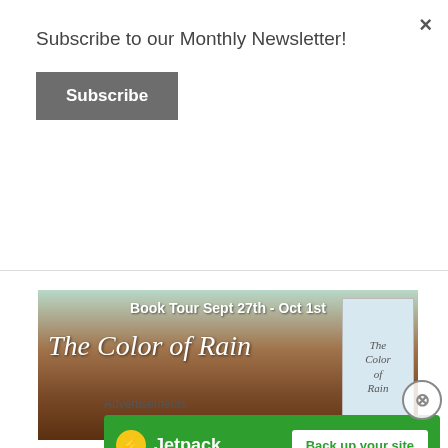Subscribe to our Monthly Newsletter!
Subscribe
Fiction As the romanticized period of the American "wild" West wound down, most cowboys rode off…
READ MORE
[Figure (illustration): Book tour banner for 'The Color of Rain' showing Book Tour Sept 27th - Oct 1st text, cursive title over a brown field background, with a book cover image on the right]
Advertisements
[Figure (other): Jetpack advertisement banner with green background showing Jetpack logo and 'Back up your site' call-to-action button]